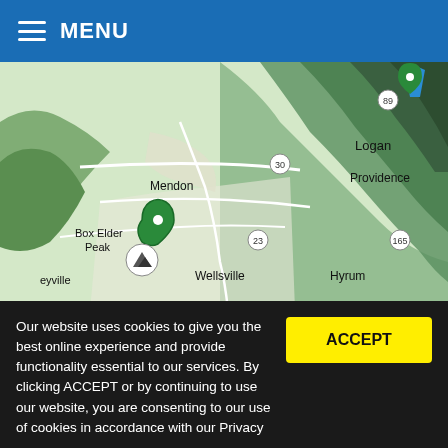MENU
[Figure (map): Topographic map showing Logan, Providence, Hyrum, Wellsville, Mendon, Box Elder Peak area in Utah with route markers and highway labels (30, 89, 23, 165)]
View Full-Screen Map
BST Official
Our website uses cookies to give you the best online experience and provide functionality essential to our services. By clicking ACCEPT or by continuing to use our website, you are consenting to our use of cookies in accordance with our Privacy